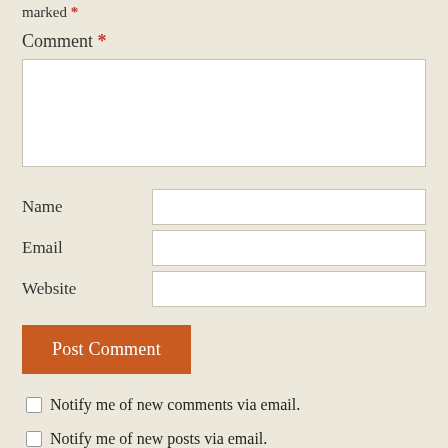marked *
Comment *
[Figure (other): Comment text area input field (large white rectangle with border)]
Name
[Figure (other): Name text input field]
Email
[Figure (other): Email text input field]
Website
[Figure (other): Website text input field]
[Figure (other): Post Comment button (orange/burnt orange background, white text)]
Notify me of new comments via email.
Notify me of new posts via email.